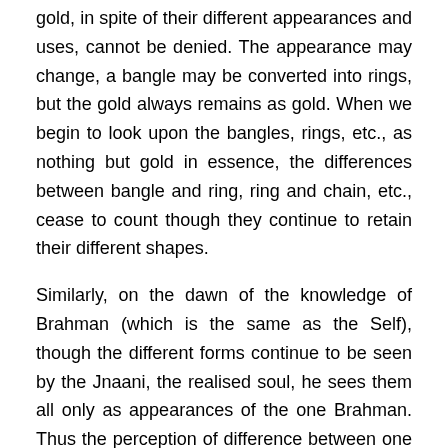gold, in spite of their different appearances and uses, cannot be denied. The appearance may change, a bangle may be converted into rings, but the gold always remains as gold. When we begin to look upon the bangles, rings, etc., as nothing but gold in essence, the differences between bangle and ring, ring and chain, etc., cease to count though they continue to retain their different shapes.
Similarly, on the dawn of the knowledge of Brahman (which is the same as the Self), though the different forms continue to be seen by the Jnaani, the realised soul, he sees them all only as appearances of the one Brahman. Thus the perception of difference between one person and another, or one thing and another, and the consequences of such perception, such as looking upon some as favourable and others as the opposite, and the consequent efforts to retain or get what is favourable and